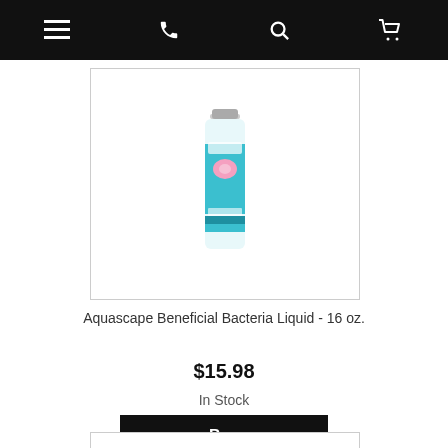Navigation bar with menu, phone, search, and cart icons
[Figure (photo): Product image of Aquascape Beneficial Bacteria Liquid 16 oz bottle with teal label and pink flower imagery, shown in a white bordered container]
Aquascape Beneficial Bacteria Liquid - 16 oz.
$15.98
In Stock
Buy